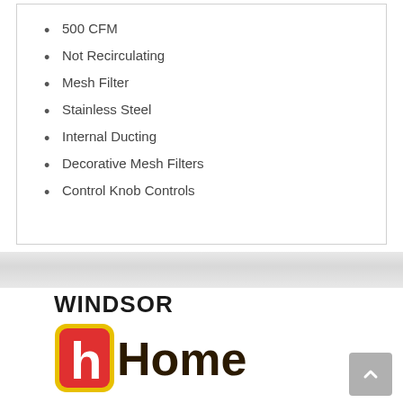500 CFM
Not Recirculating
Mesh Filter
Stainless Steel
Internal Ducting
Decorative Mesh Filters
Control Knob Controls
[Figure (logo): Windsor Home logo with red rounded square icon containing white 'h' and bold text 'WINDSOR' above 'Home']